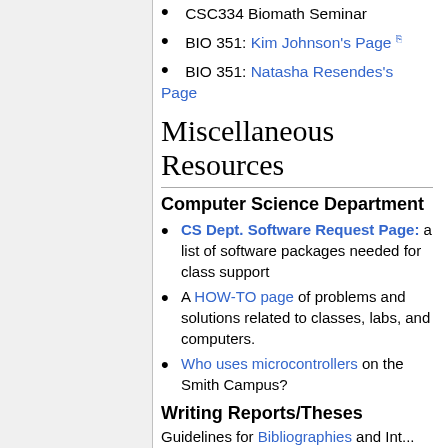CSC334 Biomath Seminar
BIO 351: Kim Johnson's Page
BIO 351: Natasha Resendes's Page
Miscellaneous Resources
Computer Science Department
CS Dept. Software Request Page: a list of software packages needed for class support
A HOW-TO page of problems and solutions related to classes, labs, and computers.
Who uses microcontrollers on the Smith Campus?
Writing Reports/Theses
Guidelines for Bibliographies and Internet...